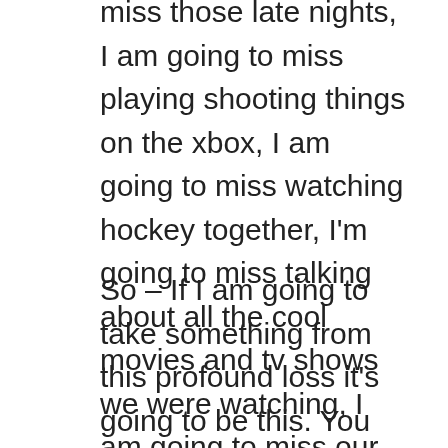Sohrab, I am going to miss you so much. I am going to miss those late nights, I am going to miss playing shooting things on the xbox, I am going to miss watching hockey together, I'm going to miss talking about all the cool movies and tv shows we were watching, I am going to miss our long conversations and me being able to be your confidant when you needed an ear. It's going to be really hard to be your shadow when your guiding light is gone. But I am going to try.
So – If I am going to take something from this profound loss it's going to be this. You remember that old ad with Michael Jordan? Be like Mike. Well I think that we should all be like Sohrab. Don't take for granted this short time we have on earth. Live life to its fullest. Love your family like you have no tomorrow. Make that call that you've been putting off. Write that letter that you